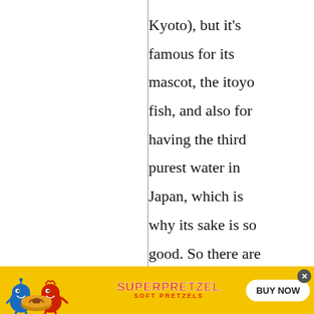Kyoto), but it's famous for its mascot, the itoyo fish, and also for having the third purest water in Japan, which is why its sake is so good. So there are plenty of excuses for you to go hang out at the
[Figure (illustration): SuperPretzel Soft Pretzels advertisement banner with cartoon characters (blue and red) holding a bowl of pretzels, SuperPretzel logo text, and a 'BUY NOW' button on yellow background.]